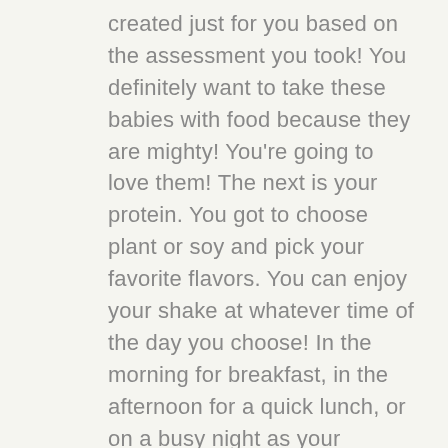created just for you based on the assessment you took! You definitely want to take these babies with food because they are mighty! You're going to love them! The next is your protein. You got to choose plant or soy and pick your favorite flavors. You can enjoy your shake at whatever time of the day you choose! In the morning for breakfast, in the afternoon for a quick lunch, or on a busy night as your nutritious dinner.. doesn't matter! I tend to enjoy mine for breakfast as a wonderful way to start my day. I love that they have the powerful amino acid, leucine, to help preserve my muscles while I drop body fat! Last thing in your reset kit is your 7-day cleanse box. This comes with 14 total packets that you will take over your